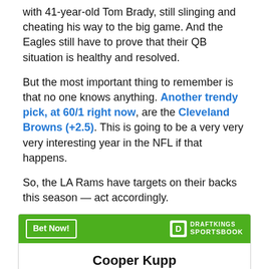with 41-year-old Tom Brady, still slinging and cheating his way to the big game. And the Eagles still have to prove that their QB situation is healthy and resolved.
But the most important thing to remember is that no one knows anything. Another trendy pick, at 60/1 right now, are the Cleveland Browns (+2.5). This is going to be a very very very interesting year in the NFL if that happens.
So, the LA Rams have targets on their backs this season — act accordingly.
| Cooper Kupp |  |
| --- | --- |
| O/U Receiving Yards (vs. BUF) | 93.5 |